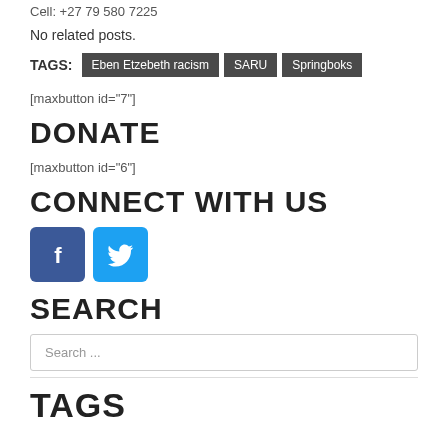Cell: +27 79 580 7225
No related posts.
TAGS: Eben Etzebeth racism | SARU | Springboks
[maxbutton id="7"]
DONATE
[maxbutton id="6"]
CONNECT WITH US
[Figure (illustration): Facebook and Twitter social media icons]
SEARCH
Search ...
TAGS